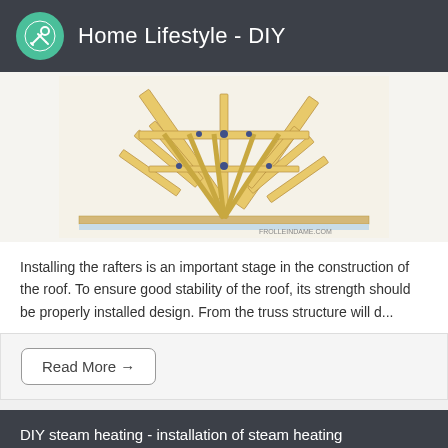Home Lifestyle - DIY
[Figure (illustration): Wooden roof rafter/truss structure diagram showing timber framing with diagonal supports and connectors, watermarked with FROLLEINDAME.COM]
Installing the rafters is an important stage in the construction of the roof. To ensure good stability of the roof, its strength should be properly installed design. From the truss structure will d...
Read More →
DIY steam heating - installation of steam heating
[Figure (photo): Partial photo of steam heating installation equipment]